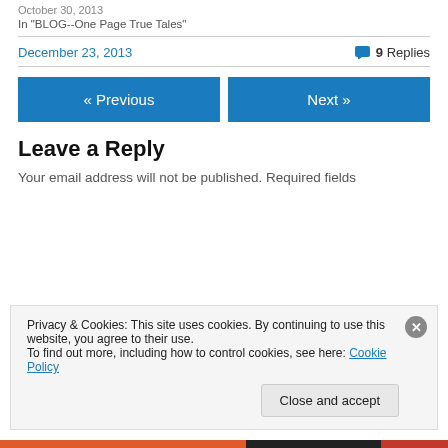October 30, 2013
In "BLOG--One Page True Tales"
December 23, 2013
9 Replies
« Previous
Next »
Leave a Reply
Your email address will not be published. Required fields
Privacy & Cookies: This site uses cookies. By continuing to use this website, you agree to their use. To find out more, including how to control cookies, see here: Cookie Policy
Close and accept